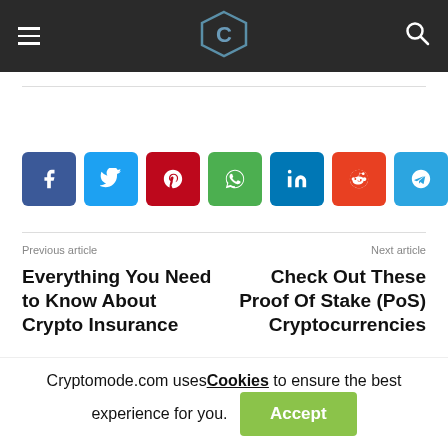Cryptomode site header with hamburger menu, hexagon logo, and search icon
[Figure (infographic): Row of 7 social media share buttons: Facebook (dark blue), Twitter (light blue), Pinterest (red), WhatsApp (green), LinkedIn (dark blue), Reddit (orange-red), Telegram (blue)]
Previous article
Everything You Need to Know About Crypto Insurance
Next article
Check Out These Proof Of Stake (PoS) Cryptocurrencies
[Figure (screenshot): Comment section box with grey scrollbar placeholder]
Cryptomode.com uses Cookies to ensure the best experience for you. Accept